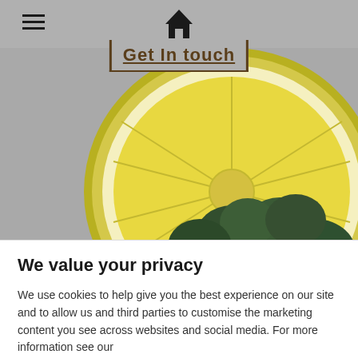≡  [home icon]
Get In touch
[Figure (photo): A close-up photo of a lemon slice and broccoli floret on a grey background, partially visible in a food/nutrition website header.]
We value your privacy
We use cookies to help give you the best experience on our site and to allow us and third parties to customise the marketing content you see across websites and social media. For more information see our